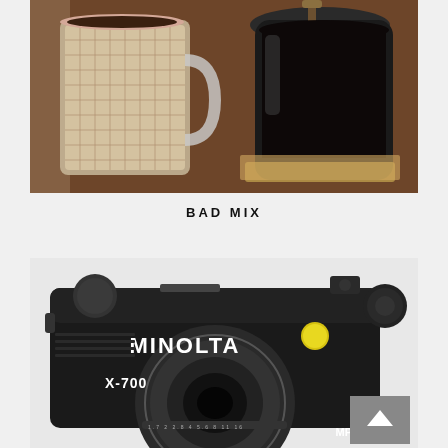[Figure (photo): Photo of a glass mug with woven rattan/burlap sleeve and a dark coffee carafe on a wooden table in a cafe setting]
BAD MIX
[Figure (photo): Close-up photo of a Minolta X-700 film SLR camera body in black, with MPK branding visible, on a light background]